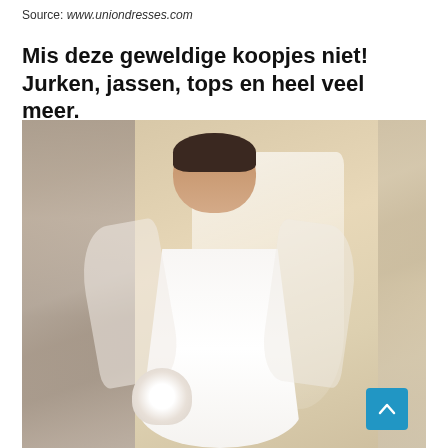Source: www.uniondresses.com
Mis deze geweldige koopjes niet! Jurken, jassen, tops en heel veel meer.
[Figure (photo): Bride wearing a white lace wedding gown with long sheer lace sleeves and veil, holding a white bouquet, standing in front of a stone wall background.]